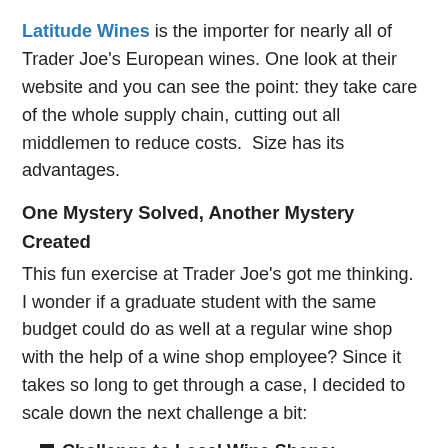Latitude Wines is the importer for nearly all of Trader Joe's European wines. One look at their website and you can see the point: they take care of the whole supply chain, cutting out all middlemen to reduce costs.  Size has its advantages.
One Mystery Solved, Another Mystery Created
This fun exercise at Trader Joe's got me thinking.  I wonder if a graduate student with the same budget could do as well at a regular wine shop with the help of a wine shop employee? Since it takes so long to get through a case, I decided to scale down the next challenge a bit:
Challenge to Local Wine Shops:
6 bottles of wine for $60 before sales tax.
1 sparkling wine
1 light body white wine